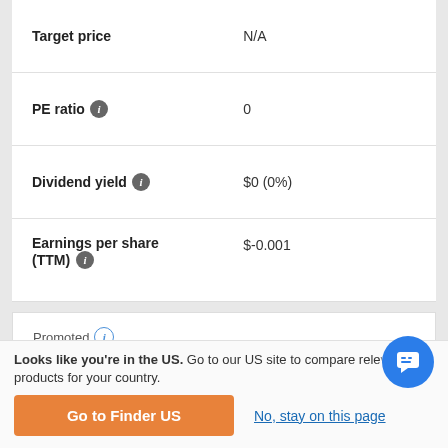| Metric | Value |
| --- | --- |
| Target price | N/A |
| PE ratio | 0 |
| Dividend yield | $0 (0%) |
| Earnings per share (TTM) | $-0.001 |
Promoted
Share Trading Account Offer
Looks like you're in the US. Go to our US site to compare relevant products for your country.
Go to Finder US
No, stay on this page